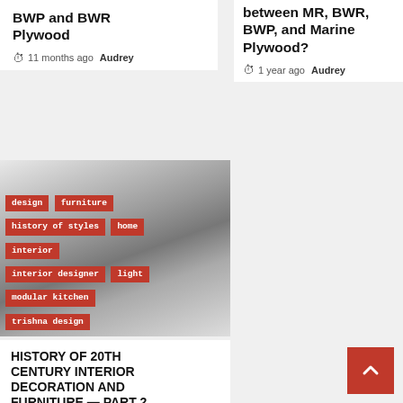BWP and BWR Plywood
11 months ago  Audrey
between MR, BWR, BWP, and Marine Plywood?
1 year ago  Audrey
[Figure (photo): Black and white portrait of a woman with tags overlaid: design, furniture, history of styles, home, interior, interior designer, light, modular kitchen, trishna design]
HISTORY OF 20th CENTURY INTERIOR DECORATION AND FURNITURE — PART 2
1 year ago  Audrey